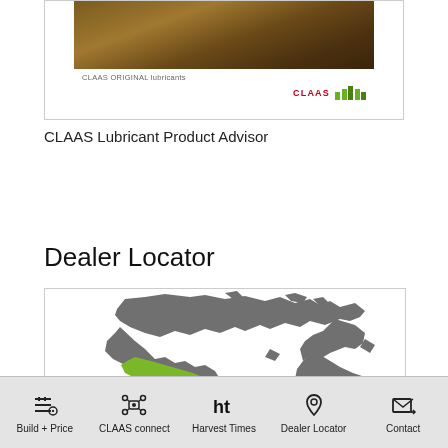[Figure (illustration): CLAAS Original lubricants product brochure card showing a wood/gravel background image and the CLAAS logo with green bar chart icon]
CLAAS Lubricant Product Advisor
Dealer Locator
[Figure (map): Map showing Canada regions in grey and green, used as a Dealer Locator tool]
Build + Price | CLAAS connect | Harvest Times | Dealer Locator | Contact